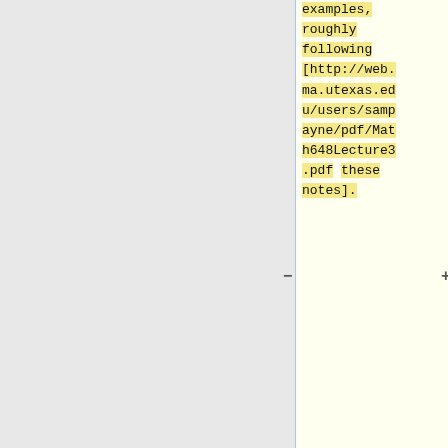examples, roughly following [http://web.ma.utexas.edu/users/sampayne/pdf/Math648Lecture3.pdf these notes].
are associated to intervals of the Bruhat poset of a Coxeter group. We will discuss an analogue of Kazdhan-Lusztig polynomials for matroids, including results and conjectures from [https://arxiv.org/pdf/1611.07474.pdf these]